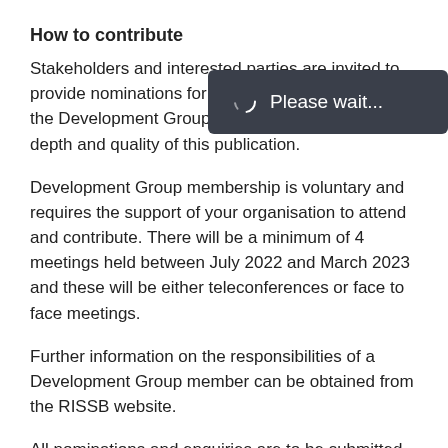How to contribute
Stakeholders and interested parties are invited to provide nominations for subject matter experts for the Development Group to contribute to the overall depth and quality of this publication.
[Figure (screenshot): Please wait... loading overlay in dark grey rounded rectangle]
Development Group membership is voluntary and requires the support of your organisation to attend and contribute. There will be a minimum of 4 meetings held between July 2022 and March 2023 and these will be either teleconferences or face to face meetings.
Further information on the responsibilities of a Development Group member can be obtained from the RISSB website.
All nominations and enquiries are to be submitted to sniles@rissb.com.au.
As part of your nomination, can you please provide a brief